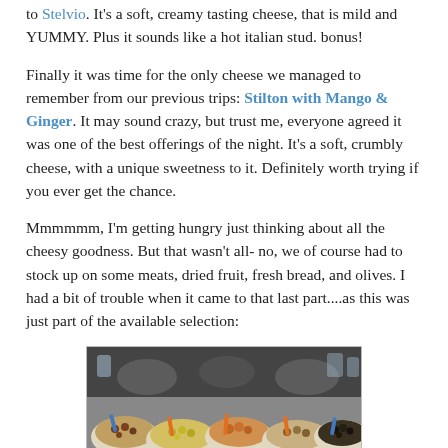to Stelvio. It's a soft, creamy tasting cheese, that is mild and YUMMY. Plus it sounds like a hot italian stud. bonus!
Finally it was time for the only cheese we managed to remember from our previous trips: Stilton with Mango & Ginger. It may sound crazy, but trust me, everyone agreed it was one of the best offerings of the night. It's a soft, crumbly cheese, with a unique sweetness to it. Definitely worth trying if you ever get the chance.
Mmmmmm, I'm getting hungry just thinking about all the cheesy goodness. But that wasn't all- no, we of course had to stock up on some meats, dried fruit, fresh bread, and olives. I had a bit of trouble when it came to that last part....as this was just part of the available selection:
[Figure (photo): Photo of multiple white bowls/containers filled with various olives and food items, with orange and blue spoons/utensils, displayed on a market or deli counter.]